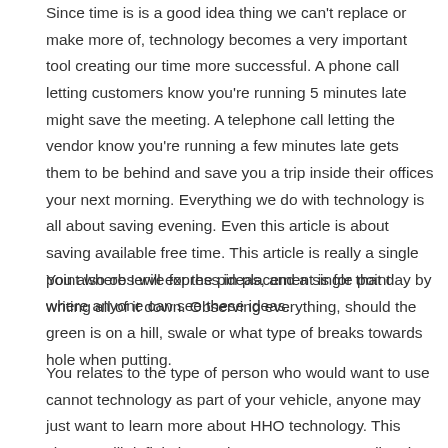Since time is is a good idea thing we can't replace or make more of, technology becomes a very important tool creating our time more successful. A phone call letting customers know you're running 5 minutes late might save the meeting. A telephone call letting the vendor know you're running a few minutes late gets them to be behind and save you a trip inside their offices your next morning. Everything we do with technology is all about saving evening. Even this article is about saving available free time. This article is really a single point where I will express ideas, and a single point where anyone can see these ideas.
You also observe for the pin placement is for that day by writing all of it down. Observing everything, should the green is on a hill, swale or what type of breaks towards hole when putting.
You relates to the type of person who would want to use cannot technology as part of your vehicle, anyone may just want to learn more about HHO technology. This chapter will definitely supply you answers regarding the subject.